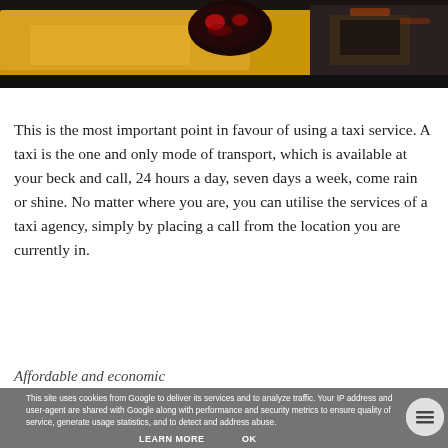[Figure (photo): Photo of a yellow taxi cab, showing the rear/side of the car with a side mirror reflecting red brake lights, taken on a city street.]
This is the most important point in favour of using a taxi service. A taxi is the one and only mode of transport, which is available at your beck and call, 24 hours a day, seven days a week, come rain or shine. No matter where you are, you can utilise the services of a taxi agency, simply by placing a call from the location you are currently in.
Affordable and economic
This site uses cookies from Google to deliver its services and to analyze traffic. Your IP address and user-agent are shared with Google along with performance and security metrics to ensure quality of service, generate usage statistics, and to detect and address abuse.